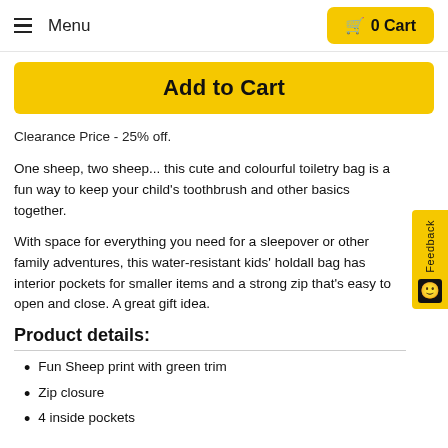Menu | 0 Cart
Add to Cart
Clearance Price - 25% off.
One sheep, two sheep... this cute and colourful toiletry bag is a fun way to keep your child’s toothbrush and other basics together.
With space for everything you need for a sleepover or other family adventures, this water-resistant kids’ holdall bag has interior pockets for smaller items and a strong zip that’s easy to open and close. A great gift idea.
Product details:
Fun Sheep print with green trim
Zip closure
4 inside pockets